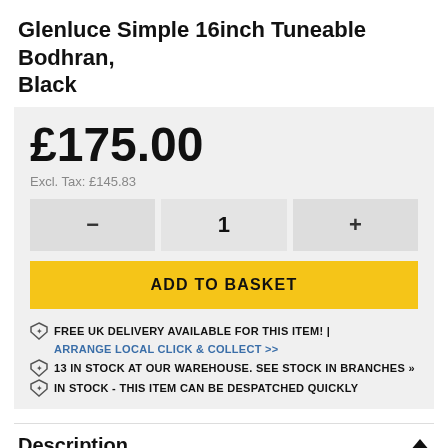Glenluce Simple 16inch Tuneable Bodhran, Black
£175.00
Excl. Tax: £145.83
ADD TO BASKET
FREE UK DELIVERY AVAILABLE FOR THIS ITEM! | ARRANGE LOCAL CLICK & COLLECT >>
13 IN STOCK AT OUR WAREHOUSE. SEE STOCK IN BRANCHES »
IN STOCK - THIS ITEM CAN BE DESPATCHED QUICKLY
Description